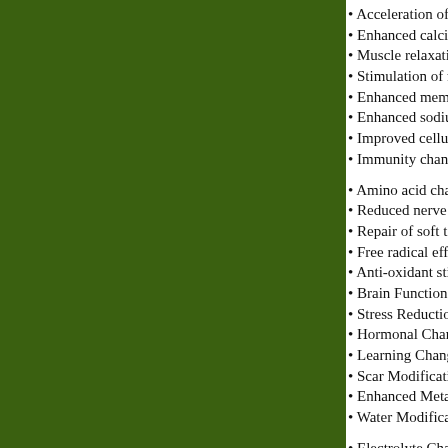[Figure (illustration): Dark olive/forest green solid color panel occupying the left portion of the page]
Acceleration of en
Enhanced calciur
Muscle relaxation
Stimulation of nitr
Enhanced memb
Enhanced sodiun
Improved cellular
Immunity change
Amino acid chang
Reduced nerve c
Repair of soft tiss
Free radical effec
Anti-oxidant stimu
Brain Function Ef
Stress Reduction
Hormonal Change
Learning Change
Scar Modification
Enhanced Metabe
Water Modificatio
Electrolyte Chang
Bone Healing